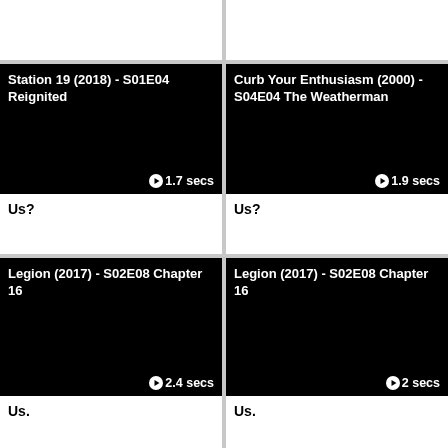[Figure (screenshot): Blank white cell top-left]
[Figure (screenshot): Blank white cell top-right]
[Figure (screenshot): Video thumbnail: Station 19 (2018) - S01E04 Reignited, duration 1.7 secs]
Us?
[Figure (screenshot): Video thumbnail: Curb Your Enthusiasm (2000) - S04E04 The Weatherman, duration 1.9 secs]
Us?
[Figure (screenshot): Video thumbnail: Legion (2017) - S02E08 Chapter 16, duration 2.4 secs]
Us.
[Figure (screenshot): Video thumbnail: Legion (2017) - S02E08 Chapter 16, duration 2 secs]
Us.